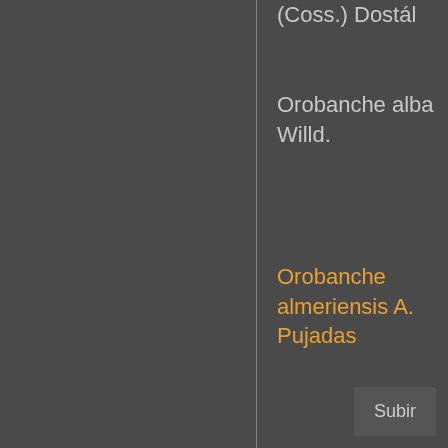(Coss.) Dostál
Orobanche alba Willd.
NT
Orobanche almeriensis A. Pujadas
VU
Orobanche amethystea Thuill. subsp. amethystea
LC
Orobanche amethystea